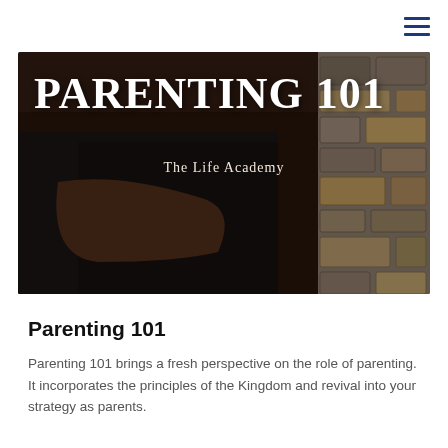[Figure (photo): Hero image showing a person in a dark t-shirt with arms crossed, beside a stone wall background. Overlaid text reads 'PARENTING 101' in large bold white serif font, and 'The Life Academy' centered below in smaller text.]
Parenting 101
Parenting 101 brings a fresh perspective on the role of parenting. It incorporates the principles of the Kingdom and revival into your strategy as parents.